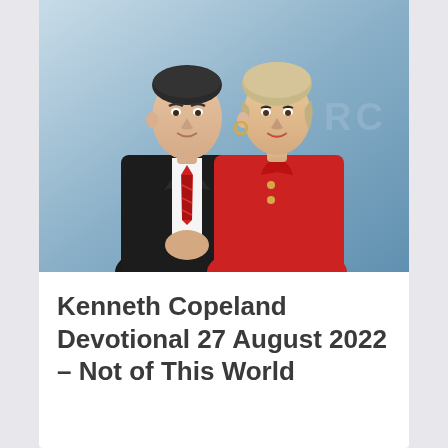[Figure (photo): Portrait photo of Kenneth Copeland (man in black suit with red tie) and a woman in a red top/jacket, posing together against a light blue background.]
Kenneth Copeland Devotional 27 August 2022 – Not of This World